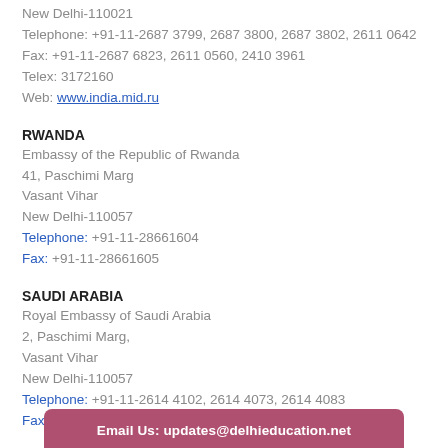New Delhi-110021
Telephone: +91-11-2687 3799, 2687 3800, 2687 3802, 2611 0642
Fax: +91-11-2687 6823, 2611 0560, 2410 3961
Telex: 3172160
Web: www.india.mid.ru
RWANDA
Embassy of the Republic of Rwanda
41, Paschimi Marg
Vasant Vihar
New Delhi-110057
Telephone: +91-11-28661604
Fax: +91-11-28661605
SAUDI ARABIA
Royal Embassy of Saudi Arabia
2, Paschimi Marg,
Vasant Vihar
New Delhi-110057
Telephone: +91-11-2614 4102, 2614 4073, 2614 4083
Fax:
Email Us: updates@delhieducation.net